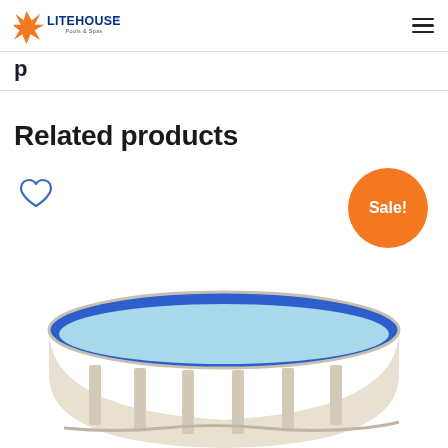Litehouse Pools & Spas
Related products
[Figure (other): Wishlist heart icon (unfilled, blue outline)]
[Figure (other): Sale! badge - orange circle with white text]
[Figure (photo): Above-ground oval swimming pool with white/beige frame and blue liner, showing the top and side view, partially cropped at bottom]